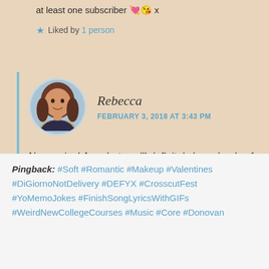at least one subscriber 💘😘 x
★ Liked by 1 person
Rebecca
FEBRUARY 3, 2018 AT 3:43 PM
No worries! Aww but you'll definitely have loads of subscribers 🙂 x
★ Liked by 1 person
Pingback: #Soft #Romantic #Makeup #Valentines #DiGiornoNotDelivery #DEFYX #CrosscutFest #YoMemoJokes #FinishSongLyricsWithGIFs #WeirdNewCollegeCourses #Music #Core #Donovan